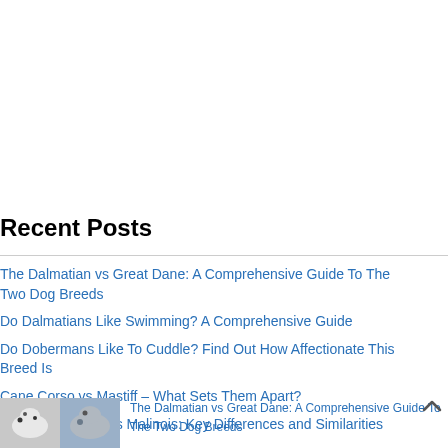Recent Posts
The Dalmatian vs Great Dane: A Comprehensive Guide To The Two Dog Breeds
Do Dalmatians Like Swimming? A Comprehensive Guide
Do Dobermans Like To Cuddle? Find Out How Affectionate This Breed Is
Cane Corso vs Mastiff – What Sets Them Apart?
Belgian Tervuren vs Malinois: Key Differences and Similarities
[Figure (photo): Two dogs side by side - a Dalmatian and a Great Dane]
The Dalmatian vs Great Dane: A Comprehensive Guide To The Two Dog Breeds